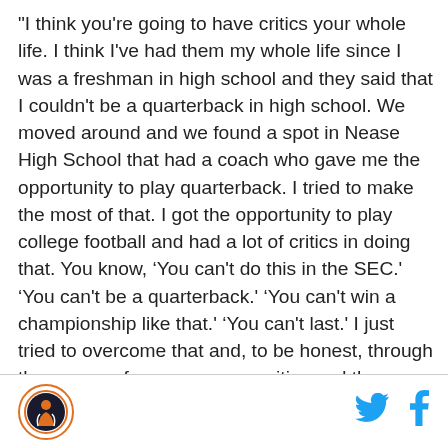"I think you're going to have critics your whole life. I think I've had them my whole life since I was a freshman in high school and they said that I couldn't be a quarterback in high school. We moved around and we found a spot in Nease High School that had a coach who gave me the opportunity to play quarterback. I tried to make the most of that. I got the opportunity to play college football and had a lot of critics in doing that. You know, ‘You can't do this in the SEC.' ‘You can't be a quarterback.' ‘You can't win a championship like that.' ‘You can't last.' I just tried to overcome that and, to be honest, through the course of my career, my critics and the people who have told me that I can't (accomplish something) have been one of
[logo] [twitter] [facebook]